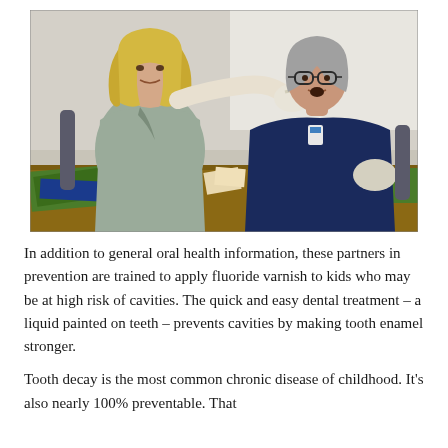[Figure (photo): A dental health worker wearing gloves applies fluoride varnish to a seated woman's teeth at a table in an office or classroom setting. Green paper and cards are visible on the table.]
In addition to general oral health information, these partners in prevention are trained to apply fluoride varnish to kids who may be at high risk of cavities. The quick and easy dental treatment – a liquid painted on teeth – prevents cavities by making tooth enamel stronger.
Tooth decay is the most common chronic disease of childhood. It's also nearly 100% preventable. That